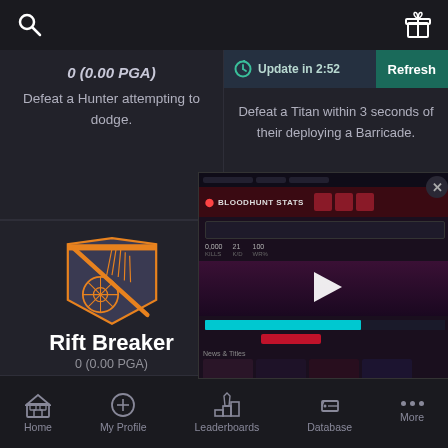[Figure (screenshot): Mobile app top bar with search icon (left) and gift/present icon (right) on dark background]
(partially visible score text)
Defeat a Hunter attempting to dodge.
Update in 2:52
Refresh
Defeat a Titan within 3 seconds of their deploying a Barricade.
[Figure (illustration): Orange and dark grey shield/badge emblem with diagonal slash and circular design (Rift Breaker achievement badge)]
Rift Breaker
0 (0.00 PGA)
Defeat a Warlock while they
[Figure (illustration): Orange and dark grey shield badge with crosshair/compass target design (partially visible)]
[Figure (screenshot): Overlay screenshot of a Bloodhunt stats website with red/dark theme, showing BLOODHUNT STATS header, stats numbers, a play button arrow overlay, cyan progress bar, and weekly content thumbnails]
Home   My Profile   Leaderboards   Database   More